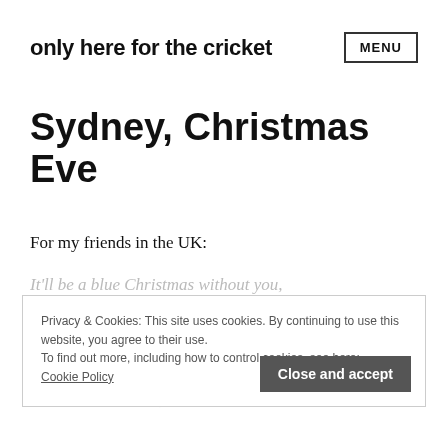only here for the cricket  MENU
Sydney, Christmas Eve
For my friends in the UK:
Privacy & Cookies: This site uses cookies. By continuing to use this website, you agree to their use.
To find out more, including how to control cookies, see here:
Cookie Policy
It'll be a blue Christmas without you,
I'll be so blue just thinking about you
You'll be doing alright
With your Christmas of white
But I'll have a blue, blue Christmas.. "